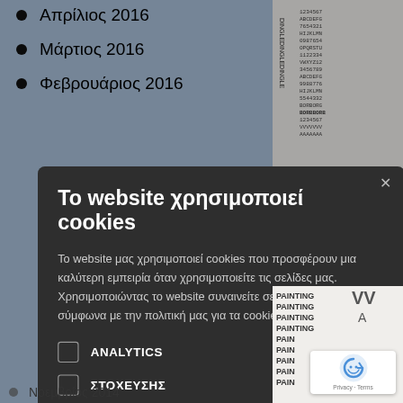Απρίλιος 2016
Μάρτιος 2016
Φεβρουάριος 2016
Το website χρησιμοποιεί cookies
Το website μας χρησιμοποιεί cookies που προσφέρουν μια καλύτερη εμπειρία όταν χρησιμοποιείτε τις σελίδες μας. Χρησιμοποιώντας το website συναινείτε σε όλα τα cookies σύμφωνα με την πολιτική μας για τα cookies. Περισσότερα
ANALYTICS
ΣΤΟΧΕΥΣΗΣ
ΑΤΑΞΙΝΟΜΗΤΑ
ΑΠΟΔΟΧΗ ΟΛΩΝ
ΑΠΟΡΡΙΨΗ ΟΛΩΝ
Νοεμβρίος 2014
[Figure (illustration): Dense text-art illustration on right side of page, featuring word collages including 'DINGLE DONG', 'PAINTING', 'BORB', etc.]
[Figure (logo): Google reCAPTCHA badge with Privacy and Terms links]